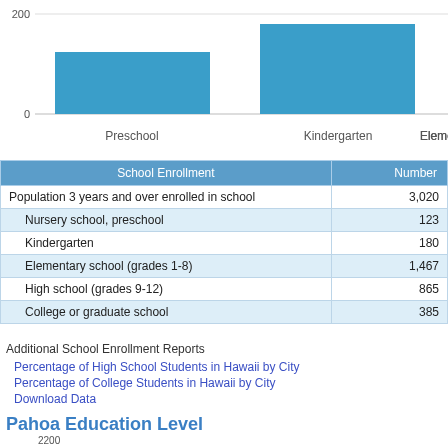[Figure (bar-chart): School Enrollment by Level (partial)]
| School Enrollment | Number |
| --- | --- |
| Population 3 years and over enrolled in school | 3,020 |
| Nursery school, preschool | 123 |
| Kindergarten | 180 |
| Elementary school (grades 1-8) | 1,467 |
| High school (grades 9-12) | 865 |
| College or graduate school | 385 |
Additional School Enrollment Reports
Percentage of High School Students in Hawaii by City
Percentage of College Students in Hawaii by City
Download Data
Pahoa Education Level
[Figure (bar-chart): Pahoa Education Level]